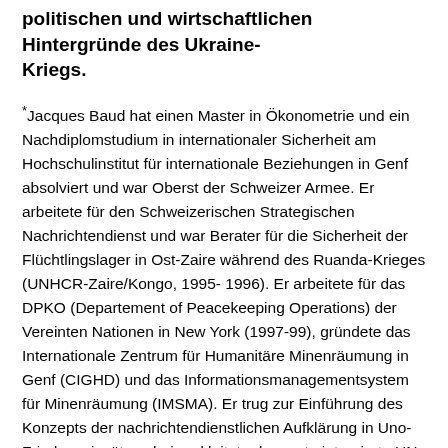politischen und wirtschaftlichen Hintergründe des Ukraine-Kriegs.
*Jacques Baud hat einen Master in Ökonometrie und ein Nachdiplomstudium in internationaler Sicherheit am Hochschulinstitut für internationale Beziehungen in Genf absolviert und war Oberst der Schweizer Armee. Er arbeitete für den Schweizerischen Strategischen Nachrichtendienst und war Berater für die Sicherheit der Flüchtlingslager in Ost-Zaire während des Ruanda-Krieges (UNHCR-Zaire/Kongo, 1995-1996). Er arbeitete für das DPKO (Departement of Peacekeeping Operations) der Vereinten Nationen in New York (1997-99), gründete das Internationale Zentrum für Humanitäre Minenräumung in Genf (CIGHD) und das Informationsmanagementsystem für Minenräumung (IMSMA). Er trug zur Einführung des Konzepts der nachrichtendienstlichen Aufklärung in Uno-Friedenseinsätzen bei und leitete das erste integrierte UN Joint Mission Analysis Centre (JMAC) im Sudan (2005-06). Er war Leiter der Abteilung Friedenspolitik und Doktrin des Heeres...